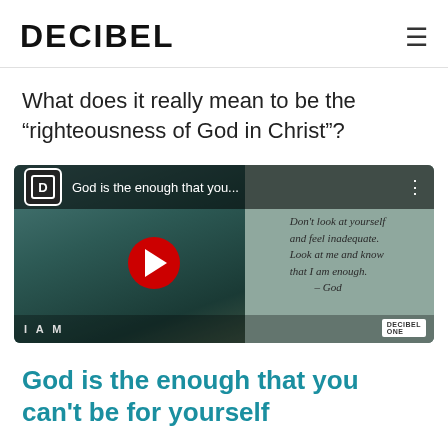DECIBEL
What does it really mean to be the “righteousness of God in Christ”?
[Figure (screenshot): YouTube video thumbnail for 'God is the enough that you...' by Decibel, showing a silhouette figure against a teal night sky with handwritten text reading: Don't look at yourself and feel inadequate. Look at me and know that I am enough. - God. A red YouTube play button is centered on the thumbnail.]
God is the enough that you can’t be for yourself